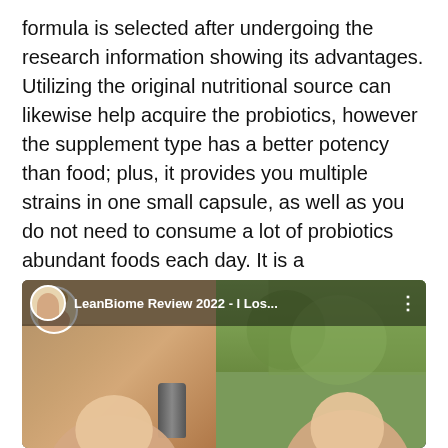formula is selected after undergoing the research information showing its advantages. Utilizing the original nutritional source can likewise help acquire the probiotics, however the supplement type has a better potency than food; plus, it provides you multiple strains in one small capsule, as well as you do not need to consume a lot of probiotics abundant foods each day. It is a vegan/vegetarian-friendly product, devoid of nuts, soy, dairy products, BPAs, as well as genetically modified components.
[Figure (screenshot): YouTube video thumbnail showing 'LeanBiome Review 2022 - I Los...' with a split view: left side shows a woman's face and a darker interior background, right side shows another woman's face against an outdoor green tree background.]